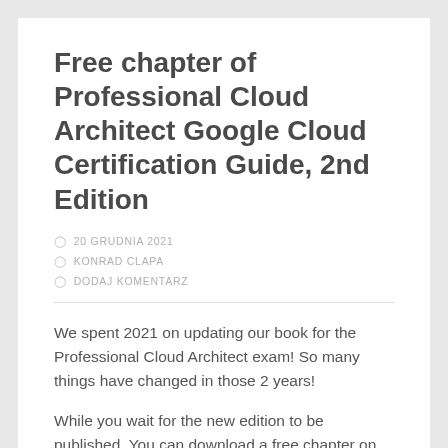Free chapter of Professional Cloud Architect Google Cloud Certification Guide, 2nd Edition
20 GRUDNIA 2021
KONRAD CLAPA
DODAJ KOMENTARZ
We spent 2021 on updating our book for the Professional Cloud Architect exam! So many things have changed in those 2 years!
While you wait for the new edition to be published. You can download a free chapter on Anthoo here: